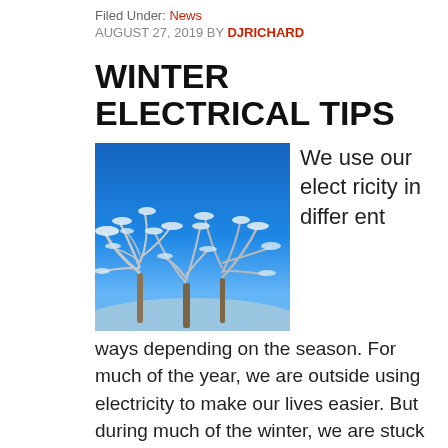Filed Under: News
AUGUST 27, 2019 BY DJRICHARD
WINTER ELECTRICAL TIPS
[Figure (photo): Snow-covered tree branches against a bright blue winter sky]
We use our electricity in different ways depending on the season. For much of the year, we are outside using electricity to make our lives easier. But during much of the winter, we are stuck inside trying to keep cozy and...